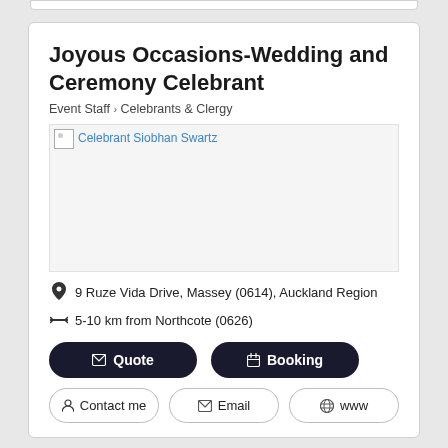Joyous Occasions-Wedding and Ceremony Celebrant
Event Staff › Celebrants & Clergy
[Figure (photo): Image of Celebrant Siobhan Swartz (broken/unloaded image placeholder)]
9 Ruze Vida Drive, Massey (0614), Auckland Region
5-10 km from Northcote (0626)
Quote
Booking
Contact me
Email
www